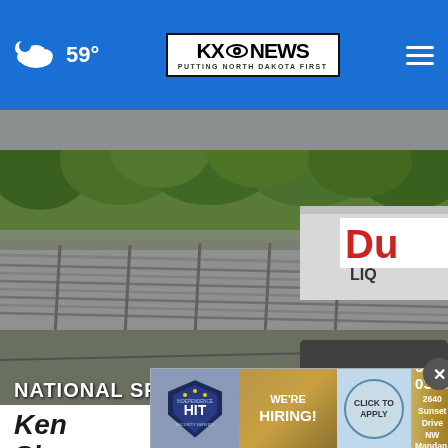59° | KX NEWS - PUTTING NORTH DAKOTA FIRST
[Figure (photo): Racing track with barrier fence in foreground, green trees in background, partial view of a white vehicle with red text 'Du' and 'LIQ' visible on the right side]
NATIONAL SPORTS
Ken She
[Figure (infographic): Advertisement banner for Independence HIT Security Agency: HIT badge logo, WE'RE HIRING! text, CLICK TO APPLY button, phone number 701-663-0379, address 2640 Sunset Drive NW, Mandan, ND 58554]